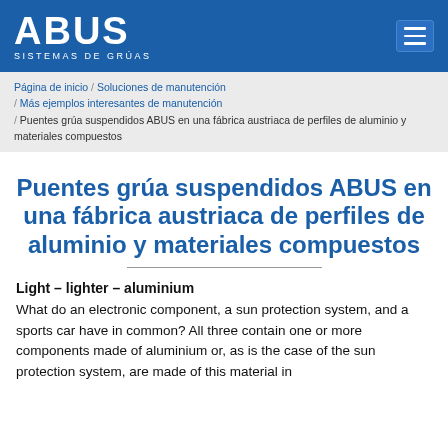ABUS SISTEMAS DE GRÚAS
Página de inicio / Soluciones de manutención / Más ejemplos interesantes de manutención / Puentes grúa suspendidos ABUS en una fábrica austriaca de perfiles de aluminio y materiales compuestos
Puentes grúa suspendidos ABUS en una fábrica austriaca de perfiles de aluminio y materiales compuestos
Light – lighter – aluminium
What do an electronic component, a sun protection system, and a sports car have in common? All three contain one or more components made of aluminium or, as is the case of the sun protection system, are made of this material in